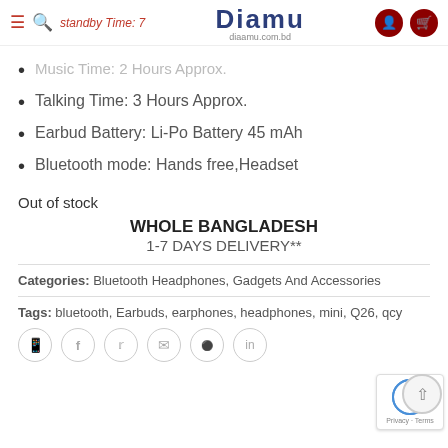Diamu - diaamu.com.bd
Music Time: 2 Hours Approx.
Talking Time: 3 Hours Approx.
Earbud Battery: Li-Po Battery 45 mAh
Bluetooth mode: Hands free,Headset
Out of stock
WHOLE BANGLADESH
1-7 DAYS DELIVERY**
Categories: Bluetooth Headphones, Gadgets And Accessories
Tags: bluetooth, Earbuds, earphones, headphones, mini, Q26, qcy